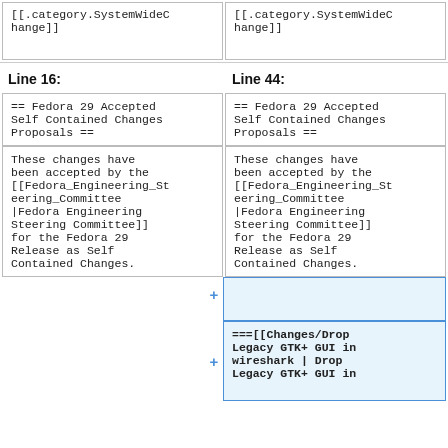[[.category.SystemWideChange]]
[[.category.SystemWideChange]]
Line 16:
Line 44:
== Fedora 29 Accepted Self Contained Changes Proposals ==
== Fedora 29 Accepted Self Contained Changes Proposals ==
These changes have been accepted by the [[Fedora_Engineering_Steering_Committee |Fedora Engineering Steering Committee]] for the Fedora 29 Release as Self Contained Changes.
These changes have been accepted by the [[Fedora_Engineering_Steering_Committee |Fedora Engineering Steering Committee]] for the Fedora 29 Release as Self Contained Changes.
===[[Changes/Drop Legacy GTK+ GUI in wireshark | Drop Legacy GTK+ GUI in